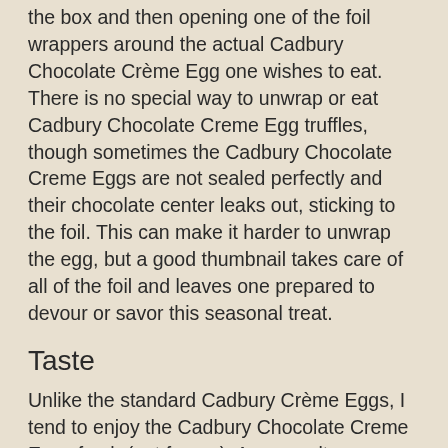the box and then opening one of the foil wrappers around the actual Cadbury Chocolate Crème Egg one wishes to eat. There is no special way to unwrap or eat Cadbury Chocolate Creme Egg truffles, though sometimes the Cadbury Chocolate Creme Eggs are not sealed perfectly and their chocolate center leaks out, sticking to the foil. This can make it harder to unwrap the egg, but a good thumbnail takes care of all of the foil and leaves one prepared to devour or savor this seasonal treat.
Taste
Unlike the standard Cadbury Crème Eggs, I tend to enjoy the Cadbury Chocolate Creme Eggs fresh (not frozen). As a result, whenever I unwrap one of these Chocolate Crème Eggs, I am pleasantly overwhelmed by the aroma of chocolate. The Chocolate Crème eggs are not merely a chocolate scent, they are delightfully rich in their chocolate flavor, like walking into a small warm room packed with people, each of whom has two mugs of steaming hot chocolate. The chocolate bouquet is not concentrated where it smells like dark chocolate, but rather like a much greater